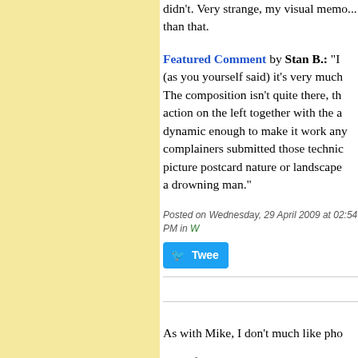didn't. Very strange, my visual memo... than that.
Featured Comment by Stan B.: "I (as you yourself said) it's very much The composition isn't quite there, the action on the left together with the a dynamic enough to make it work any complainers submitted those technic picture postcard nature or landscape a drowning man."
Posted on Wednesday, 29 April 2009 at 02:54 PM in W
Tweet
As with Mike, I don't much like pho
One of the main reasons is that most